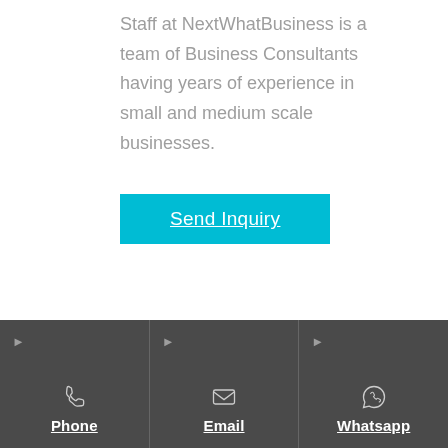Staff at NextWhatBusiness is a team of Business Consultants having years of experience in small and medium scale businesses.
Send Inquiry
Buy Suitable Cooking Oil Machine for Starting Your Small Oil Business
Phone
Email
Whatsapp